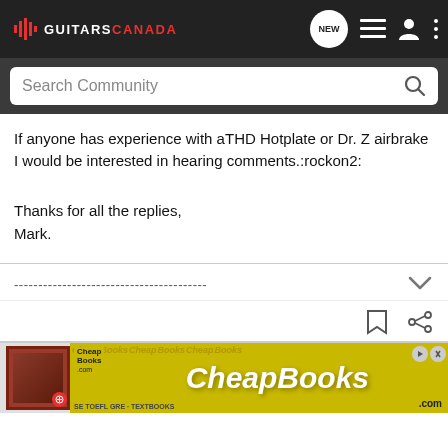GUITARS CANADA
If anyone has experience with aTHD Hotplate or Dr. Z airbrake I would be interested in hearing comments.:rockon2:

Thanks for all the replies,
Mark.
----------------------------------------
[Figure (screenshot): CheapBooks.com advertisement banner]